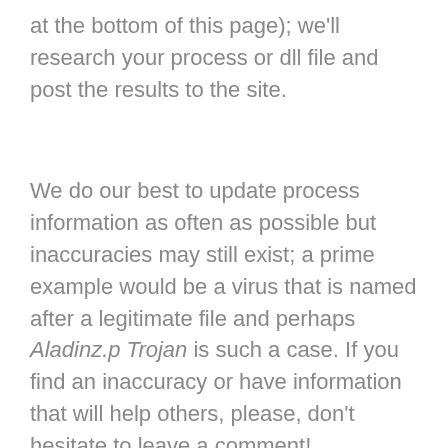at the bottom of this page); we'll research your process or dll file and post the results to the site.
We do our best to update process information as often as possible but inaccuracies may still exist; a prime example would be a virus that is named after a legitimate file and perhaps Aladinz.p Trojan is such a case. If you find an inaccuracy or have information that will help others, please, don't hesitate to leave a comment!